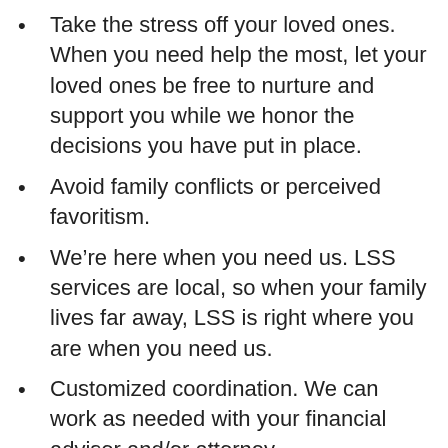Take the stress off your loved ones. When you need help the most, let your loved ones be free to nurture and support you while we honor the decisions you have put in place.
Avoid family conflicts or perceived favoritism.
We’re here when you need us. LSS services are local, so when your family lives far away, LSS is right where you are when you need us.
Customized coordination. We can work as needed with your financial advisor and/or attorney.
You can trust us. We have been serving